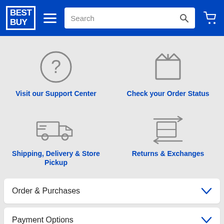Best Buy — Search bar — Cart
[Figure (illustration): Question mark circle icon — Visit our Support Center]
Visit our Support Center
[Figure (illustration): Package/box icon — Check your Order Status]
Check your Order Status
[Figure (illustration): Delivery truck icon — Shipping, Delivery & Store Pickup]
Shipping, Delivery & Store Pickup
[Figure (illustration): Returns arrows with box icon — Returns & Exchanges]
Returns & Exchanges
Order & Purchases
Payment Options